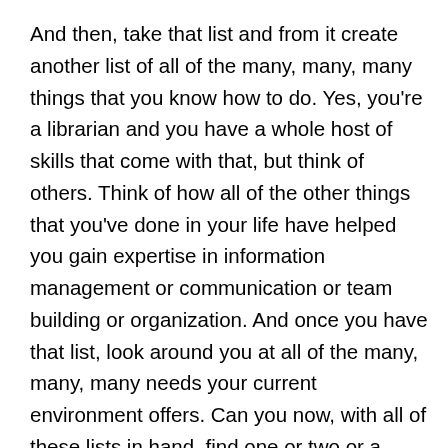And then, take that list and from it create another list of all of the many, many, many things that you know how to do. Yes, you're a librarian and you have a whole host of skills that come with that, but think of others. Think of how all of the other things that you've done in your life have helped you gain expertise in information management or communication or team building or organization. And once you have that list, look around you at all of the many, many, many needs your current environment offers. Can you now, with all of these lists in hand, find one or two or a dozen matches, opportunities where you can put yourself, the librarian, to good use to meet these needs? As Betsy Humphreys noted in her talk, these opportunities are our POINTS OF DEPARTURE. They are our keys to relevancy and the future of our profession.